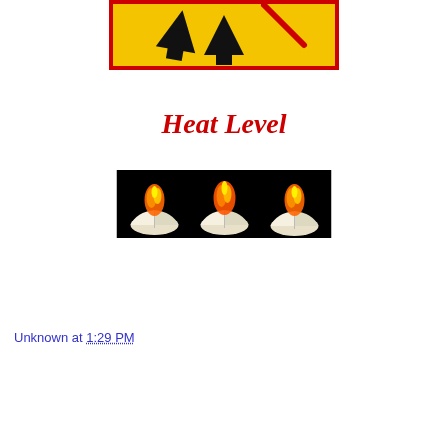[Figure (illustration): Partial view of a yellow warning sign with black arrows and a red indicator, cropped at top]
Heat Level
[Figure (illustration): Three flaming books on a black background, representing heat level rating]
Unknown at 1:29 PM
Share